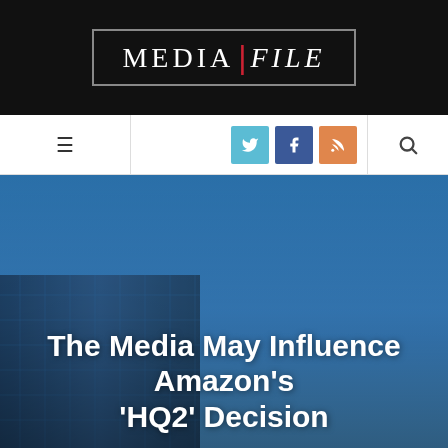MEDIA FILE
[Figure (photo): Building exterior with glass facade against a blue sky, with overlaid article headline text]
The Media May Influence Amazon’s ‘HQ2’ Decision